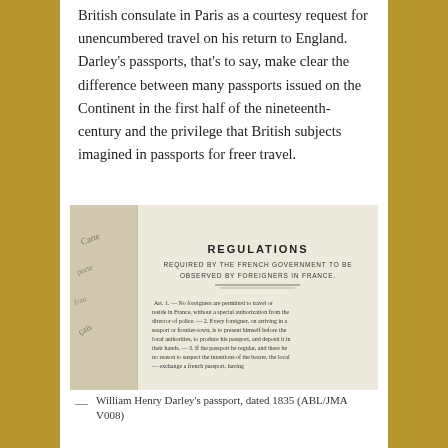British consulate in Paris as a courtesy request for unencumbered travel on his return to England. Darley's passports, that's to say, make clear the difference between many passports issued on the Continent in the first half of the nineteenth-century and the privilege that British subjects imagined in passports for freer travel.
[Figure (photo): A historical passport document showing 'REGULATIONS REQUIRED BY THE FRENCH GOVERNMENT TO BE OBSERVED BY FOREIGNERS IN FRANCE' with Article 1 text about foreigners needing authorization to travel or reside in France. The document appears aged and handwritten text is visible on the left side.]
— William Henry Darley's passport, dated 1835 (ABL/JMA V008)